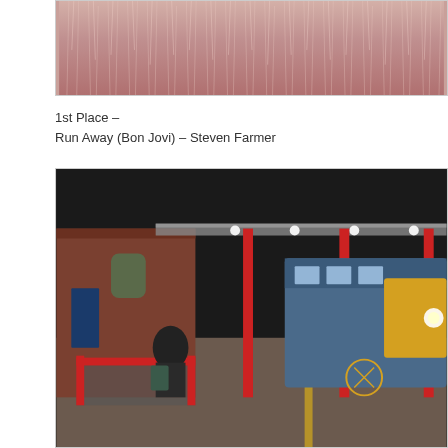[Figure (photo): A photo of pinkish-red grass or grain field from above, soft focus, warm tones.]
1st Place –
Run Away (Bon Jovi) – Steven Farmer
[Figure (photo): A nighttime railway station platform photo. A person with a backpack sits on a red bench on the left. A modern train with yellow and blue livery is arriving on the right. The platform is dimly lit with overhead canopy lights. Brick building visible in background.]